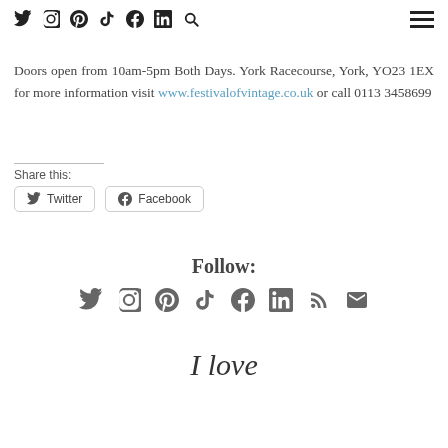Social media icons and hamburger menu
Doors open from 10am-5pm Both Days. York Racecourse, York, YO23 1EX for more information visit www.festivalofvintage.co.uk or call 0113 3458699
Share this:
Twitter  Facebook
Follow:
I love